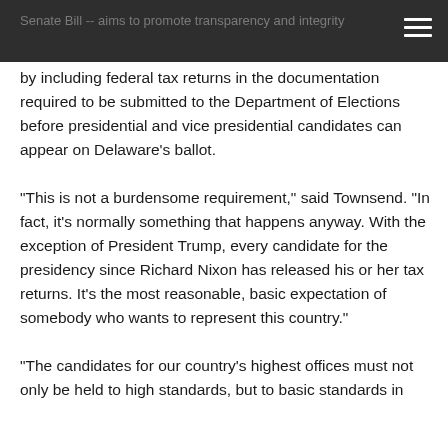Senate Bill -- aims to promote transparency and integrity by including federal tax returns in the documentation required to be submitted to the Department of Elections before presidential and vice presidential candidates can appear on Delaware's ballot.
“This is not a burdensome requirement,” said Townsend. “In fact, it’s normally something that happens anyway. With the exception of President Trump, every candidate for the presidency since Richard Nixon has released his or her tax returns. It’s the most reasonable, basic expectation of somebody who wants to represent this country.”
“The candidates for our country’s highest offices must not only be held to high standards, but to basic standards in